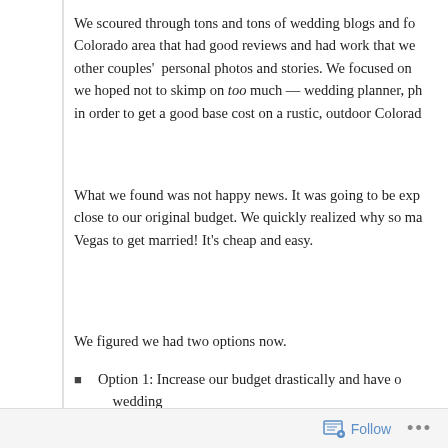We scoured through tons and tons of wedding blogs and fo... Colorado area that had good reviews and had work that we... other couples' personal photos and stories. We focused on... we hoped not to skimp on too much — wedding planner, ph... in order to get a good base cost on a rustic, outdoor Colorad...
What we found was not happy news. It was going to be exp... close to our original budget. We quickly realized why so ma... Vegas to get married! It's cheap and easy.
We figured we had two options now.
Option 1: Increase our budget drastically and have o... wedding
Option 2: Keep our budget the same and watch our... away. Vegas, anyone?
Follow